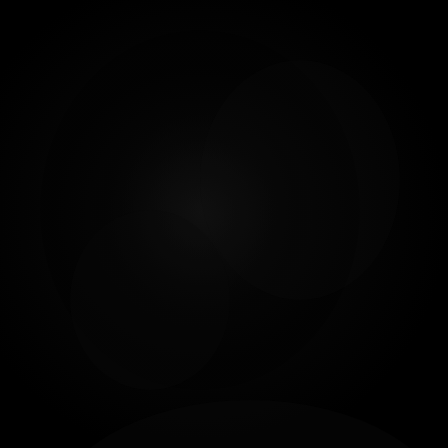[Figure (photo): A nearly entirely black image with very faint, barely visible dark shapes or shadows suggesting a photograph taken in extremely low light or with severe underexposure. The image is predominantly black with slight variations in darkness suggesting some form of content that is not discernible.]